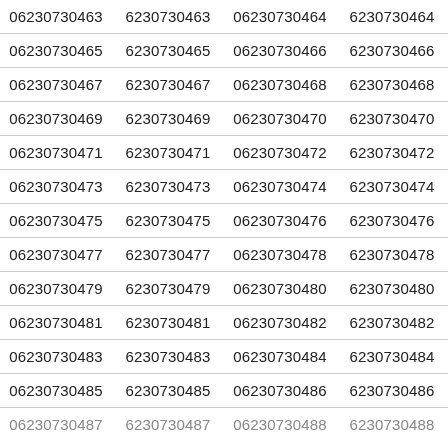| 06230730463 | 6230730463 | 06230730464 | 6230730464 |
| 06230730465 | 6230730465 | 06230730466 | 6230730466 |
| 06230730467 | 6230730467 | 06230730468 | 6230730468 |
| 06230730469 | 6230730469 | 06230730470 | 6230730470 |
| 06230730471 | 6230730471 | 06230730472 | 6230730472 |
| 06230730473 | 6230730473 | 06230730474 | 6230730474 |
| 06230730475 | 6230730475 | 06230730476 | 6230730476 |
| 06230730477 | 6230730477 | 06230730478 | 6230730478 |
| 06230730479 | 6230730479 | 06230730480 | 6230730480 |
| 06230730481 | 6230730481 | 06230730482 | 6230730482 |
| 06230730483 | 6230730483 | 06230730484 | 6230730484 |
| 06230730485 | 6230730485 | 06230730486 | 6230730486 |
| 06230730487 | 6230730487 | 06230730488 | 6230730488 |